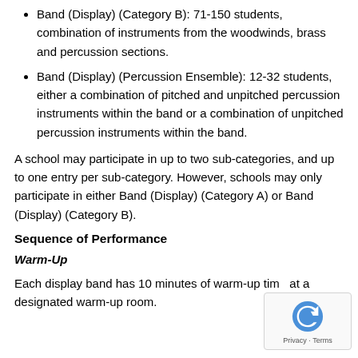Band (Display) (Category B): 71-150 students, combination of instruments from the woodwinds, brass and percussion sections.
Band (Display) (Percussion Ensemble): 12-32 students, either a combination of pitched and unpitched percussion instruments within the band or a combination of unpitched percussion instruments within the band.
A school may participate in up to two sub-categories, and up to one entry per sub-category. However, schools may only participate in either Band (Display) (Category A) or Band (Display) (Category B).
Sequence of Performance
Warm-Up
Each display band has 10 minutes of warm-up time at a designated warm-up room.